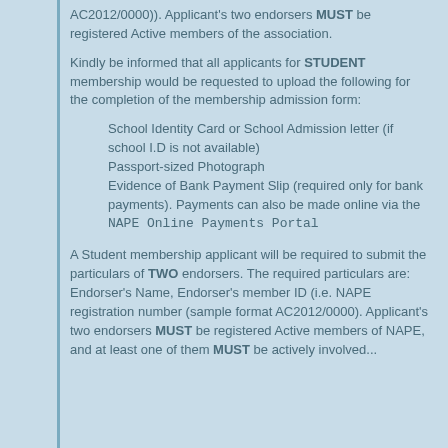AC2012/0000)). Applicant's two endorsers MUST be registered Active members of the association.
Kindly be informed that all applicants for STUDENT membership would be requested to upload the following for the completion of the membership admission form:
School Identity Card or School Admission letter (if school I.D is not available)
Passport-sized Photograph
Evidence of Bank Payment Slip (required only for bank payments). Payments can also be made online via the NAPE Online Payments Portal
A Student membership applicant will be required to submit the particulars of TWO endorsers. The required particulars are: Endorser's Name, Endorser's member ID (i.e. NAPE registration number (sample format AC2012/0000). Applicant's two endorsers MUST be registered Active members of NAPE, and at least one of them MUST be actively involved...